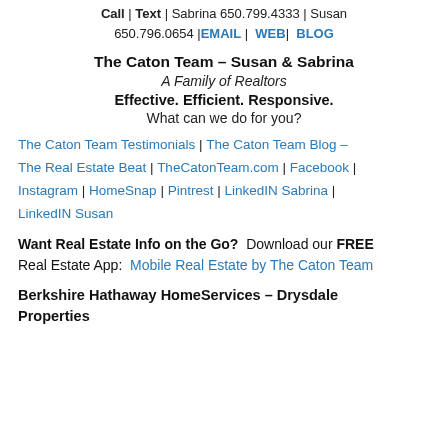Call | Text | Sabrina 650.799.4333 | Susan 650.796.0654 | EMAIL | WEB | BLOG
The Caton Team – Susan & Sabrina
A Family of Realtors
Effective. Efficient. Responsive.
What can we do for you?
The Caton Team Testimonials | The Caton Team Blog – The Real Estate Beat | TheCatonTeam.com | Facebook | Instagram | HomeSnap | Pintrest | LinkedIN Sabrina | LinkedIN Susan
Want Real Estate Info on the Go?  Download our FREE Real Estate App:  Mobile Real Estate by The Caton Team
Berkshire Hathaway HomeServices – Drysdale Properties